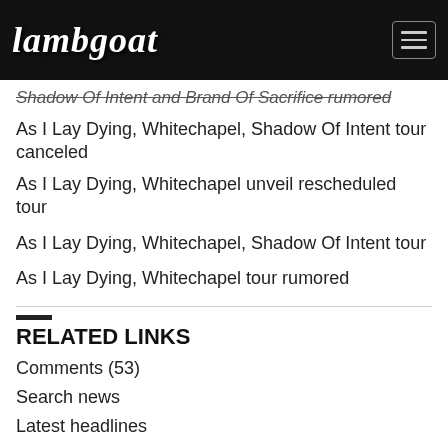Lambgoat
Shadow Of Intent and Brand Of Sacrifice rumored
As I Lay Dying, Whitechapel, Shadow Of Intent tour canceled
As I Lay Dying, Whitechapel unveil rescheduled tour
As I Lay Dying, Whitechapel, Shadow Of Intent tour
As I Lay Dying, Whitechapel tour rumored
RELATED LINKS
Comments (53)
Search news
Latest headlines
Submit news